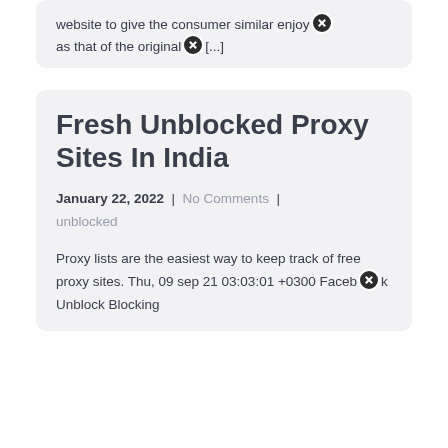...website to give the consumer similar enjoy as that of the original [...]
Fresh Unblocked Proxy Sites In India
January 22, 2022 | No Comments | unblocked
Proxy lists are the easiest way to keep track of free proxy sites. Thu, 09 sep 21 03:03:01 +0300 Facebook Unblock Blocking